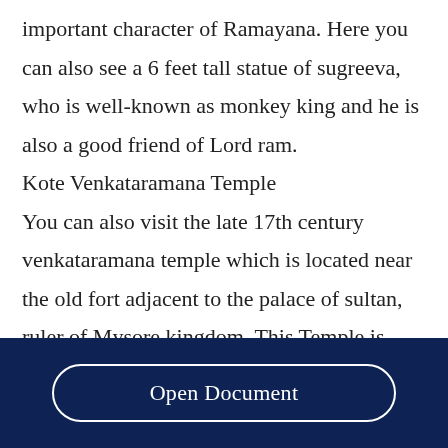important character of Ramayana. Here you can also see a 6 feet tall statue of sugreeva, who is well-known as monkey king and he is also a good friend of Lord ram.
Kote Venkataramana Temple
You can also visit the late 17th century venkataramana temple which is located near the old fort adjacent to the palace of sultan, ruler of Mysore kingdom. This Temple is dedicated to the god Venkatechwara, located near the old fort at
Open Document